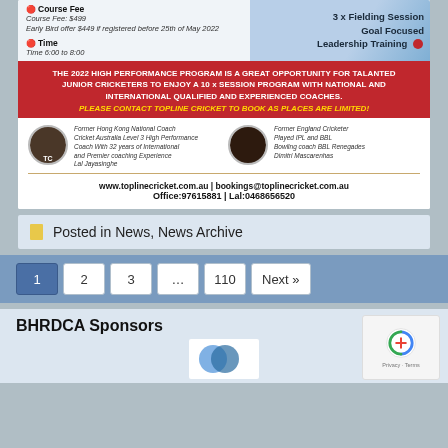Course Fee
Course Fee: $499
Early Bird offer $449 if registered before 25th of May 2022
Time
Time 6:00 to 8:00
3 x Fielding Session Goal Focused Leadership Training
THE 2022 HIGH PERFORMANCE PROGRAM IS A GREAT OPPORTUNITY FOR TALANTED JUNIOR CRICKETERS TO ENJOY A 10 x SESSION PROGRAM WITH NATIONAL AND INTERNATIONAL QUALIFIED AND EXPERIENCED COACHES. PLEASE CONTACT TOPLINE CRICKET TO BOOK AS PLACES ARE LIMITED!
Former Hong Kong National Coach Cricket Australia Level 3 High Performance Coach With 32 years of International and Premier coaching Experience Lal Jayasinghe
Former England Cricketer Played IPL and BBL Bowling coach BBL Renegades Dimitri Mascarenhas
www.toplinecricket.com.au | bookings@toplinecricket.com.au
Office:97615881 | Lal:0468656520
Posted in News, News Archive
1 2 3 ... 110 Next »
BHRDCA Sponsors